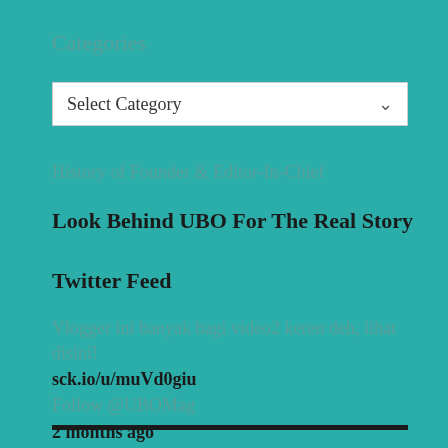Categories
[Figure (screenshot): Dropdown select box with 'Select Category' placeholder and a chevron arrow on the right]
History of Founder & Editor-In-Chief
Look Behind UBO For The Real Story
Twitter Feed
Vlogger ini banyak bagi video2 keren deh, lihat disini!
sck.io/u/muVd0giu
Follow @UBOMag
2 months ago